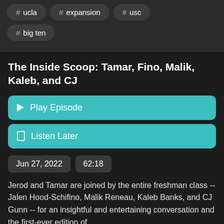# ucla
# expansion
# usc
# big ten
The Inside Scoop: Tamar, Fino, Malik, Kaleb, and CJ
Play Episode
Listen Later
Jun 27, 2022
62:18
Jerod and Tamar are joined by the entire freshman class -- Jalen Hood-Schifino, Malik Reneau, Kaleb Banks, and CJ Gunn -- for an insightful and entertaining conversation and the first-ever edition of
See More